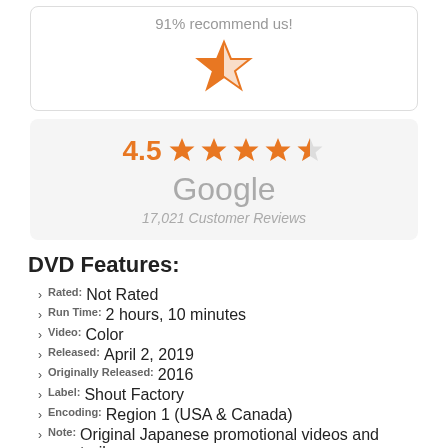91% recommend us!
[Figure (illustration): Single half-filled orange star icon]
[Figure (illustration): Rating: 4.5 stars shown with 4 full orange stars and 1 half star]
Google
17,021 Customer Reviews
DVD Features:
Rated: Not Rated
Run Time: 2 hours, 10 minutes
Video: Color
Released: April 2, 2019
Originally Released: 2016
Label: Shout Factory
Encoding: Region 1 (USA & Canada)
Note: Original Japanese promotional videos and trailers
"Speed of Youth" music video by Naoko Yamada